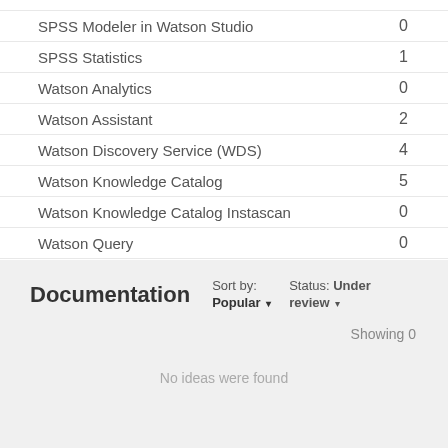SPSS Modeler in Watson Studio  0
SPSS Statistics  1
Watson Analytics  0
Watson Assistant  2
Watson Discovery Service (WDS)  4
Watson Knowledge Catalog  5
Watson Knowledge Catalog Instascan  0
Watson Query  0
Documentation
Sort by: Popular
Status: Under review
Showing 0
No ideas were found